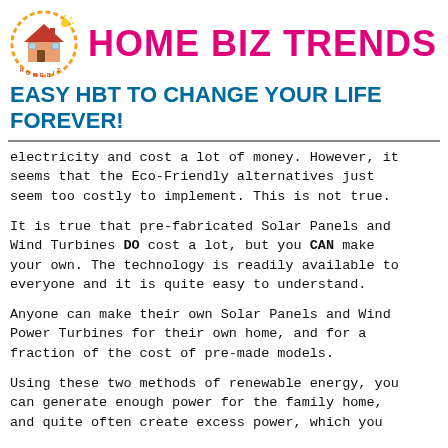[Figure (logo): Home Biz Trends logo: a house illustration inside an orange circle with dashed border]
HOME BIZ TRENDS
EASY HBT TO CHANGE YOUR LIFE FOREVER!
electricity and cost a lot of money. However, it seems that the Eco-Friendly alternatives just seem too costly to implement. This is not true.
It is true that pre-fabricated Solar Panels and Wind Turbines DO cost a lot, but you CAN make your own. The technology is readily available to everyone and it is quite easy to understand.
Anyone can make their own Solar Panels and Wind Power Turbines for their own home, and for a fraction of the cost of pre-made models.
Using these two methods of renewable energy, you can generate enough power for the family home, and quite often create excess power, which you